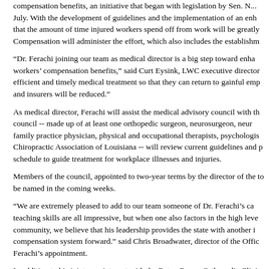compensation benefits, an initiative that began with legislation by Sen. N... July. With the development of guidelines and the implementation of an enh... that the amount of time injured workers spend off from work will be greatly... Compensation will administer the effort, which also includes the establishm...
“Dr. Ferachi joining our team as medical director is a big step toward enha... workers’ compensation benefits,” said Curt Eysink, LWC executive director... efficient and timely medical treatment so that they can return to gainful emp... and insurers will be reduced.”
As medical director, Ferachi will assist the medical advisory council with th... council -- made up of at least one orthopedic surgeon, neurosurgeon, neur... family practice physician, physical and occupational therapists, psychologis... Chiropractic Association of Louisiana -- will review current guidelines and p... schedule to guide treatment for workplace illnesses and injuries.
Members of the council, appointed to two-year terms by the director of the... to be named in the coming weeks.
“We are extremely pleased to add to our team someone of Dr. Ferachi’s ca... teaching skills are all impressive, but when one also factors in the high leve... community, we believe that his leadership provides the state with another i... compensation system forward.” said Chris Broadwater, director of the Offic... Ferachi’s appointment.
In addition to his joint appointment with the Baton Rouge Orthopedic Clini...